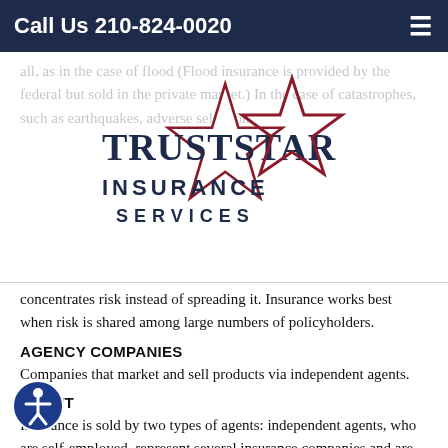Call Us 210-824-0020
[Figure (logo): TrustStar Insurance Services logo with star graphic in navy and dark red]
concentrates risk instead of spreading it. Insurance works best when risk is shared among large numbers of policyholders.
AGENCY COMPANIES
Companies that market and sell products via independent agents.
AGENT
Insurance is sold by two types of agents: independent agents, who are self-employed, represent several insurance companies and are paid on commission, and exclusive or captive agents, who